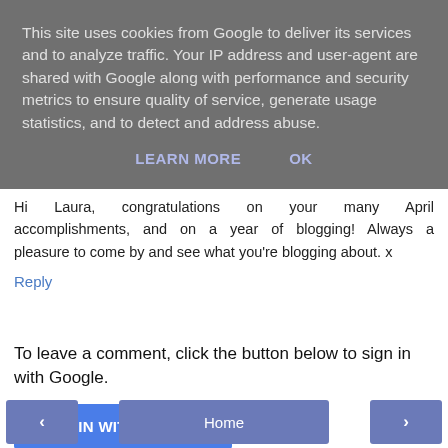This site uses cookies from Google to deliver its services and to analyze traffic. Your IP address and user-agent are shared with Google along with performance and security metrics to ensure quality of service, generate usage statistics, and to detect and address abuse.
LEARN MORE   OK
Hi Laura, congratulations on your many April accomplishments, and on a year of blogging! Always a pleasure to come by and see what you're blogging about. x
Reply
To leave a comment, click the button below to sign in with Google.
SIGN IN WITH GOOGLE
‹   Home   ›